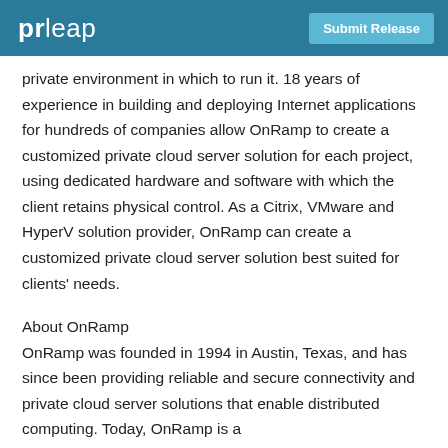prleap | Submit Release
private environment in which to run it. 18 years of experience in building and deploying Internet applications for hundreds of companies allow OnRamp to create a customized private cloud server solution for each project, using dedicated hardware and software with which the client retains physical control. As a Citrix, VMware and HyperV solution provider, OnRamp can create a customized private cloud server solution best suited for clients' needs.
About OnRamp
OnRamp was founded in 1994 in Austin, Texas, and has since been providing reliable and secure connectivity and private cloud server solutions that enable distributed computing. Today, OnRamp is a